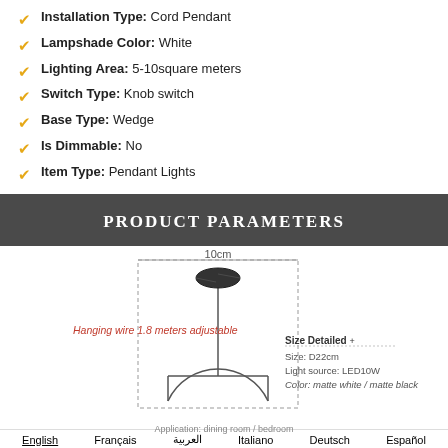Installation Type: Cord Pendant
Lampshade Color: White
Lighting Area: 5-10square meters
Switch Type: Knob switch
Base Type: Wedge
Is Dimmable: No
Item Type: Pendant Lights
PRODUCT PARAMETERS
[Figure (engineering-diagram): Pendant light diagram showing a ceiling canopy with a hanging wire (1.8 meters adjustable), 10cm width dimension indicated, and a circular lampshade at the bottom. Side annotations show Size Detailed, Size: D22cm, Light source: LED10W, Color: matte white / matte black, Application: dining room / bedroom.]
English   Français   العربية   Italiano   Deutsch   Español